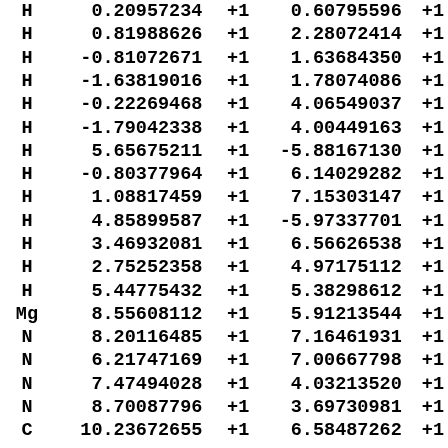| Atom | Col2 |  | Col4 |  |
| --- | --- | --- | --- | --- |
| H | 0.20957234 | +1 | 0.60795596 | +1 |
| H | 0.81988626 | +1 | 2.28072414 | +1 |
| H | -0.81072671 | +1 | 1.63684350 | +1 |
| H | -1.63819016 | +1 | 1.78074086 | +1 |
| H | -0.22269468 | +1 | 4.06549037 | +1 |
| H | -1.79042338 | +1 | 4.00449163 | +1 |
| H | 5.65675211 | +1 | -5.88167130 | +1 |
| H | -0.80377964 | +1 | 6.14029282 | +1 |
| H | 1.08817459 | +1 | 7.15303147 | +1 |
| H | 4.85899587 | +1 | -5.97337701 | +1 |
| H | 3.46932081 | +1 | 6.56626538 | +1 |
| H | 2.75252358 | +1 | 4.97175112 | +1 |
| H | 5.44775432 | +1 | 5.38298612 | +1 |
| Mg | 8.55608112 | +1 | 5.91213544 | +1 |
| N | 8.20116485 | +1 | 7.16461931 | +1 |
| N | 6.21747169 | +1 | 7.00667798 | +1 |
| N | 7.47494028 | +1 | 4.03213520 | +1 |
| N | 8.70087796 | +1 | 3.69730981 | +1 |
| C | 10.23672655 | +1 | 6.58487262 | +1 |